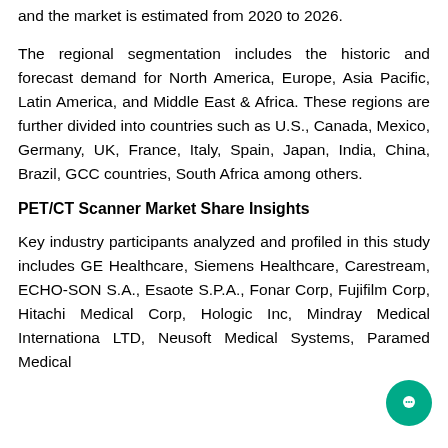and the market is estimated from 2020 to 2026.
The regional segmentation includes the historic and forecast demand for North America, Europe, Asia Pacific, Latin America, and Middle East & Africa. These regions are further divided into countries such as U.S., Canada, Mexico, Germany, UK, France, Italy, Spain, Japan, India, China, Brazil, GCC countries, South Africa among others.
PET/CT Scanner Market Share Insights
Key industry participants analyzed and profiled in this study includes GE Healthcare, Siemens Healthcare, Carestream, ECHO-SON S.A., Esaote S.P.A., Fonar Corp, Fujifilm Corp, Hitachi Medical Corp, Hologic Inc, Mindray Medical International LTD, Neusoft Medical Systems, Paramed Medical